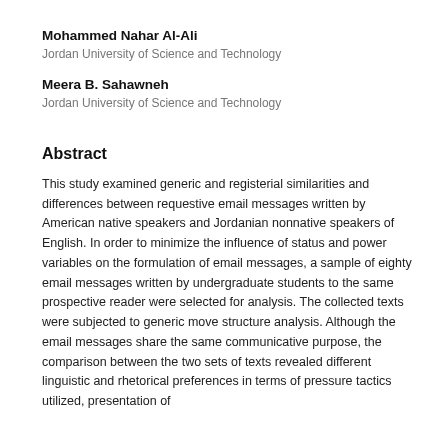Mohammed Nahar Al-Ali
Jordan University of Science and Technology
Meera B. Sahawneh
Jordan University of Science and Technology
Abstract
This study examined generic and registerial similarities and differences between requestive email messages written by American native speakers and Jordanian nonnative speakers of English. In order to minimize the influence of status and power variables on the formulation of email messages, a sample of eighty email messages written by undergraduate students to the same prospective reader were selected for analysis. The collected texts were subjected to generic move structure analysis. Although the email messages share the same communicative purpose, the comparison between the two sets of texts revealed different linguistic and rhetorical preferences in terms of pressure tactics utilized, presentation of…